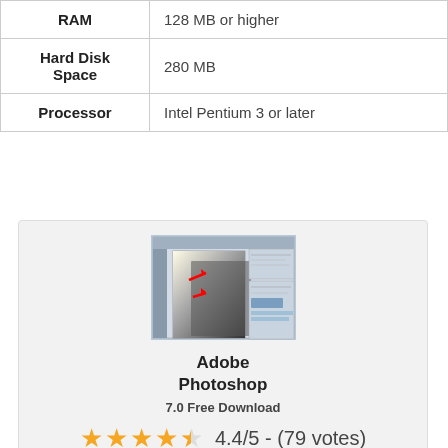|  |  |
| --- | --- |
| RAM | 128 MB or higher |
| Hard Disk Space | 280 MB |
| Processor | Intel Pentium 3 or later |
[Figure (screenshot): Screenshot of Adobe Photoshop 7.0 interface showing image editing tools and panels]
Adobe Photoshop
7.0 Free Download
4.4/5 - (79 votes)
⊟ Uncategorized